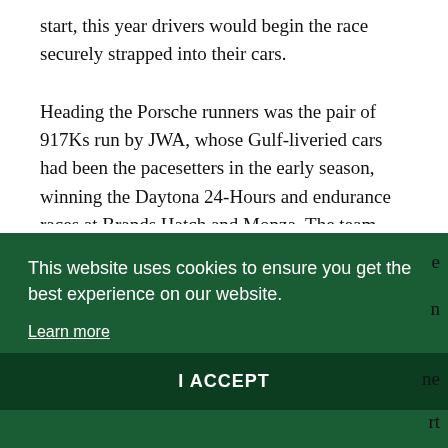start, this year drivers would begin the race securely strapped into their cars.

Heading the Porsche runners was the pair of 917Ks run by JWA, whose Gulf-liveried cars had been the pacesetters in the early season, winning the Daytona 24-Hours and endurance races at Brands Hatch and Monza. The team were offered the long tail that Porsche had developed for Le Mans – the … in the lighter and better handling JWA car was only
This website uses cookies to ensure you get the best experience on our website.
Learn more
I ACCEPT